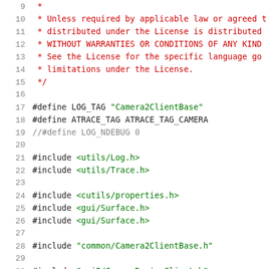Source code listing lines 9-30, C++ file with license comment, #define macros, and #include directives for Camera2ClientBase
9  *
10  * Unless required by applicable law or agreed t
11  * distributed under the License is distributed
12  * WITHOUT WARRANTIES OR CONDITIONS OF ANY KIND
13  * See the License for the specific language go
14  * limitations under the License.
15  */
16
17  #define LOG_TAG "Camera2ClientBase"
18  #define ATRACE_TAG ATRACE_TAG_CAMERA
19  //#define LOG_NDEBUG 0
20
21  #include <utils/Log.h>
22  #include <utils/Trace.h>
23
24  #include <cutils/properties.h>
25  #include <gui/Surface.h>
26  #include <gui/Surface.h>
27
28  #include "common/Camera2ClientBase.h"
29
30  #include "api2/CameraDeviceClient.h"